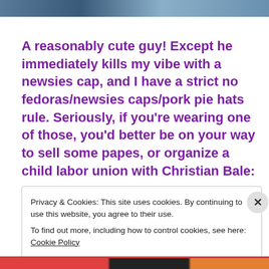[Figure (photo): Partial photo visible at the top of the page, showing what appears to be a person in an outdoor or blue-tinted setting.]
A reasonably cute guy! Except he immediately kills my vibe with a newsies cap, and I have a strict no fedoras/newsies caps/pork pie hats rule. Seriously, if you're wearing one of those, you'd better be on your way to sell some papes, or organize a child labor union with Christian Bale:
Privacy & Cookies: This site uses cookies. By continuing to use this website, you agree to their use.
To find out more, including how to control cookies, see here: Cookie Policy
Close and accept